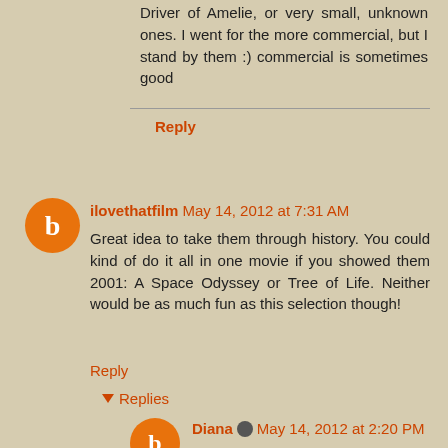Driver of Amelie, or very small, unknown ones. I went for the more commercial, but I stand by them :) commercial is sometimes good
Reply
ilovethatfilm  May 14, 2012 at 7:31 AM
Great idea to take them through history. You could kind of do it all in one movie if you showed them 2001: A Space Odyssey or Tree of Life. Neither would be as much fun as this selection though!
Reply
▼ Replies
Diana  May 14, 2012 at 2:20 PM
I don't want to be mean, but I really don't think Tree of Life is a good movie to show aliens: it's too pretentious and not very clear- if I were a green-eyed creature who just landed on earth